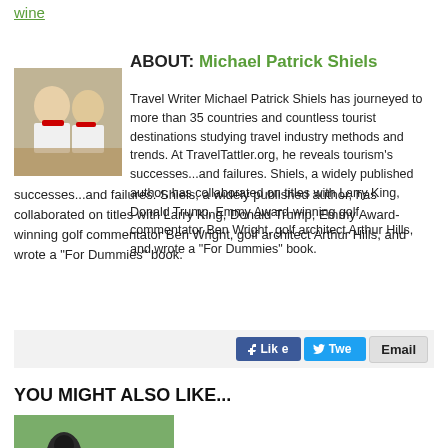wine
ABOUT: Michael Patrick Shiels
[Figure (photo): Two men wearing white shirts with red scarves around their necks, outdoors at what appears to be a festival]
Travel Writer Michael Patrick Shiels has journeyed to more than 35 countries and countless tourist destinations studying travel industry methods and trends. At TravelTattler.org, he reveals tourism's successes...and failures. Shiels, a widely published author, has collaborated on titles with Larry King, Donald Trump, Emmy Award-winning golf commentator Ben Wright, golf architect Arthur Hills, and wrote a "For Dummies" book.
Like  Twe  Email
YOU MIGHT ALSO LIKE...
[Figure (photo): Person in dark rain gear on a golf course in wet weather]